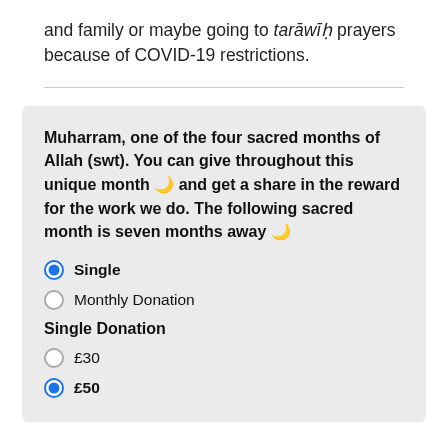and family or maybe going to tarāwīḥ prayers because of COVID-19 restrictions.
Muharram, one of the four sacred months of Allah (swt). You can give throughout this unique month 🌙 and get a share in the reward for the work we do. The following sacred month is seven months away 🌙
Single (selected)
Monthly Donation
Single Donation
£30
£50 (selected)